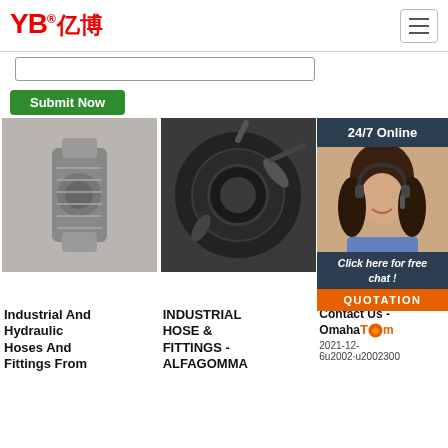[Figure (logo): YB亿博 logo in red text with registered trademark symbol]
[Figure (screenshot): Hamburger menu icon button, top right]
[Figure (screenshot): Search input box]
Submit Now
24/7 Online
[Figure (photo): Woman with headset smiling - customer support representative]
Click here for free chat !
QUOTATION
[Figure (photo): Industrial hydraulic hose fitting / coupling close-up]
[Figure (photo): Industrial hose coils - black rubber hoses bundled together]
Industrial And Hydraulic Hoses And Fittings From
INDUSTRIAL HOSE & FITTINGS - ALFAGOMMA
Contact Us - OmahaTom
2021-12-6u2002·u2002300